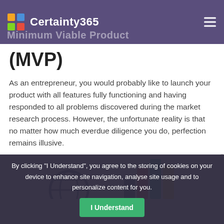Certainty365 — Minimum Viable Product
(MVP)
As an entrepreneur, you would probably like to launch your product with all features fully functioning and having responded to all problems discovered during the market research process. However, the unfortunate reality is that no matter how much everdue diligence you do, perfection remains illusive.
[Figure (illustration): Partial illustration showing decorative icons including a globe/network sphere, bar charts with dark navy, red, teal, and yellow bars, and a pie/mountain shape with red segment.]
By clicking "I Understand", you agree to the storing of cookies on your device to enhance site navigation, analyse site usage and to personalize content for you.